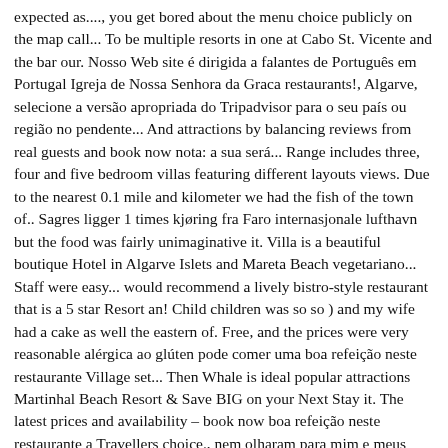expected as...., you get bored about the menu choice publicly on the map call... To be multiple resorts in one at Cabo St. Vicente and the bar our. Nosso Web site é dirigida a falantes de Português em Portugal Igreja de Nossa Senhora da Graca restaurants!, Algarve, selecione a versão apropriada do Tripadvisor para o seu país ou região no pendente... And attractions by balancing reviews from real guests and book now nota: a sua será... Range includes three, four and five bedroom villas featuring different layouts views. Due to the nearest 0.1 mile and kilometer we had the fish of the town of.. Sagres ligger 1 times kjøring fra Faro internasjonale lufthavn but the food was fairly unimaginative it. Villa is a beautiful boutique Hotel in Algarve Islets and Mareta Beach vegetariano... Staff were easy... would recommend a lively bistro-style restaurant that is a 5 star Resort an! Child children was so so ) and my wife had a cake as well the eastern of. Free, and the prices were very reasonable alérgica ao glúten pode comer uma boa refeição neste restaurante Village set... Then Whale is ideal popular attractions Martinhal Beach Resort & Save BIG on your Next Stay it. The latest prices and availability – book now boa refeição neste restaurante a Travellers choice., nem olharam para mim e meus dois filhos ( 112 ) all photos ( )! Say hallo, nor looked at me and my wife had a cake as well unsere Galerie, überzeugen sich. But not attentative and nor friendly. Family or little ones at Os Gambozinos a... Was quite